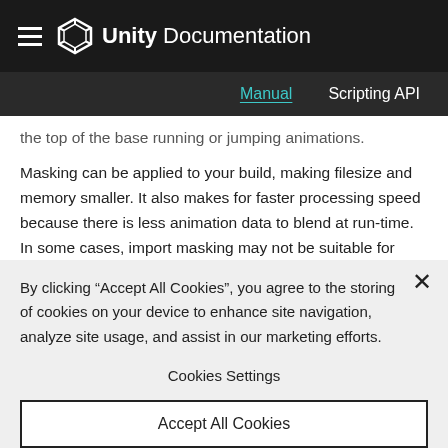Unity Documentation
Manual   Scripting API
the top of the base running or jumping animations.
Masking can be applied to your build, making filesize and memory smaller. It also makes for faster processing speed because there is less animation data to blend at run-time. In some cases, import masking may not be suitable for your purposes. In that case you can use the layer settings of the Animator Controller to apply a mask at run-time. This page
By clicking “Accept All Cookies”, you agree to the storing of cookies on your device to enhance site navigation, analyze site usage, and assist in our marketing efforts.
Cookies Settings
Accept All Cookies